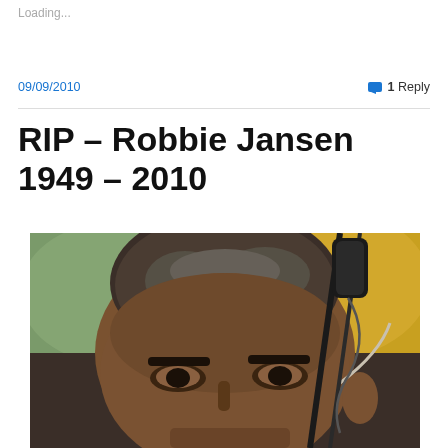Loading...
09/09/2010
1 Reply
RIP – Robbie Jansen 1949 – 2010
[Figure (photo): Close-up photograph of a middle-aged man of color with short grey hair, looking slightly upward. A microphone stand with cables is visible near his head. The background shows blurred yellow and green tones.]